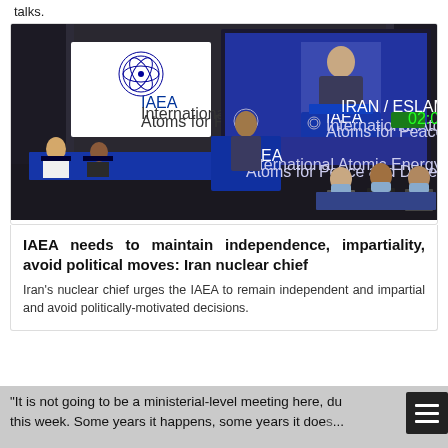talks.
[Figure (photo): IAEA conference hall scene showing a speaker at a podium with the IAEA logo and sign, a projection screen behind showing the speaker with a 02:00 timer, and delegates seated at a table on the left. Blue IAEA branding throughout.]
IAEA needs to maintain independence, impartiality, avoid political moves: Iran nuclear chief
Iran's nuclear chief urges the IAEA to remain independent and impartial and avoid politically-motivated decisions.
"It is not going to be a ministerial-level meeting here, due this week. Some years it happens, some years it does not